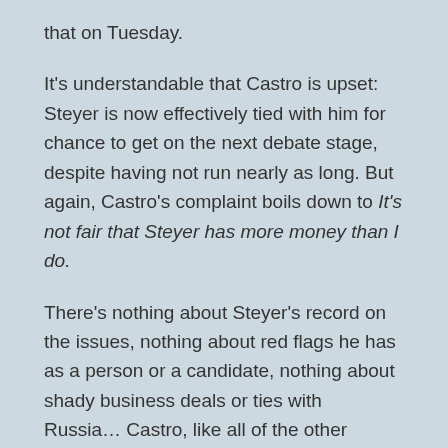that on Tuesday.
It's understandable that Castro is upset: Steyer is now effectively tied with him for chance to get on the next debate stage, despite having not run nearly as long. But again, Castro's complaint boils down to It's not fair that Steyer has more money than I do.
There's nothing about Steyer's record on the issues, nothing about red flags he has as a person or a candidate, nothing about shady business deals or ties with Russia… Castro, like all of the other candidates complaining about Steyer, only attacks him because he's rich.